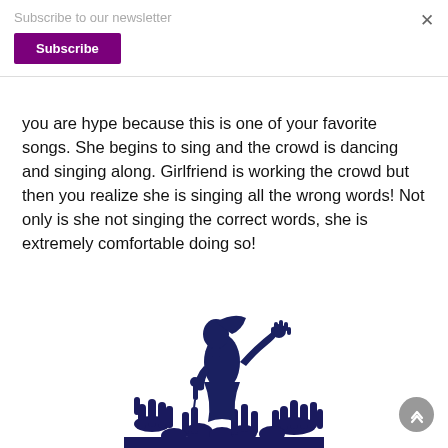Subscribe to our newsletter
Subscribe
you are hype because this is one of your favorite songs. She begins to sing and the crowd is dancing and singing along. Girlfriend is working the crowd but then you realize she is singing all the wrong words! Not only is she not singing the correct words, she is extremely comfortable doing so!
[Figure (illustration): Silhouette of a female singer with microphone, arm raised, crowd with hands up in the foreground, in dark blue/navy color]